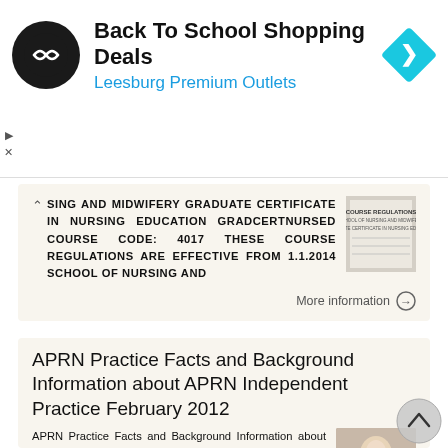[Figure (infographic): Advertisement banner for Back To School Shopping Deals at Leesburg Premium Outlets. Features a black circular logo with a double-arrow symbol, the ad title and subtitle in large text, and a blue diamond navigation icon on the right. Small play and X controls appear on the left side below the ad.]
SING AND MIDWIFERY GRADUATE CERTIFICATE IN NURSING EDUCATION GradCertNursEd COURSE CODE: 4017 THESE COURSE REGULATIONS ARE EFFECTIVE FROM 1.1.2014 SCHOOL OF NURSING AND
[Figure (photo): Small thumbnail image of a document cover page titled COURSE REGULATIONS for a nursing education program.]
More information →
APRN Practice Facts and Background Information about APRN Independent Practice February 2012
APRN Practice Facts and Background Information about APRN Independent Practice February 2012 Under Federal law 38 USC 7402(b), the Department of Veterans Affairs (VA) is authorized to establish licensure
[Figure (photo): Photo of a woman in a blue top working at a desk, appearing to be a nurse or healthcare professional.]